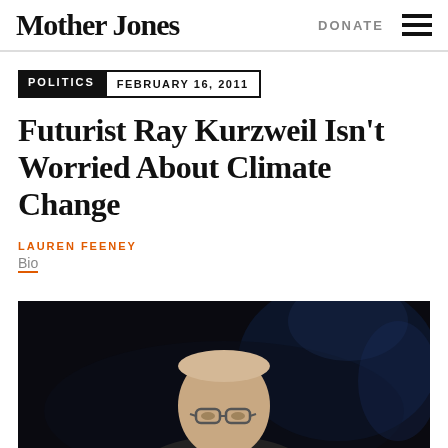Mother Jones | DONATE
POLITICS  FEBRUARY 16, 2011
Futurist Ray Kurzweil Isn't Worried About Climate Change
LAUREN FEENEY
Bio
[Figure (photo): Photo of Ray Kurzweil, an older man with glasses, photographed from below against a dark background with stage lighting.]